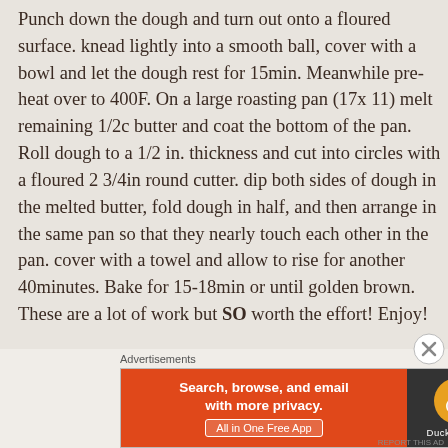Punch down the dough and turn out onto a floured surface. knead lightly into a smooth ball, cover with a bowl and let the dough rest for 15min. Meanwhile pre-heat over to 400F. On a large roasting pan (17x 11) melt remaining 1/2c butter and coat the bottom of the pan. Roll dough to a 1/2 in. thickness and cut into circles with a floured 2 3/4in round cutter. dip both sides of dough in the melted butter, fold dough in half, and then arrange in the same pan so that they nearly touch each other in the pan. cover with a towel and allow to rise for another 40minutes. Bake for 15-18min or until golden brown. These are a lot of work but SO worth the effort! Enjoy!
Advertisements
[Figure (screenshot): DuckDuckGo advertisement banner: orange left section with text 'Search, browse, and email with more privacy. All in One Free App', dark right section with DuckDuckGo logo duck icon and DuckDuckGo text]